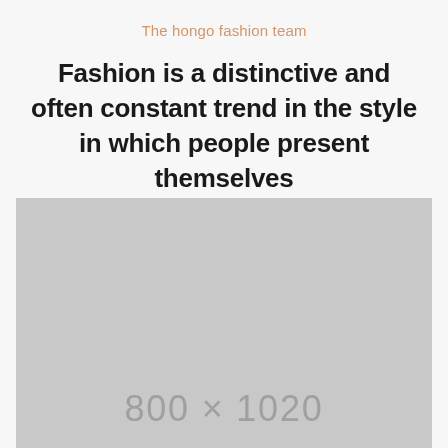The hongo fashion team
Fashion is a distinctive and often constant trend in the style in which people present themselves
[Figure (photo): Placeholder image 800x1020, light gray background with dimension label]